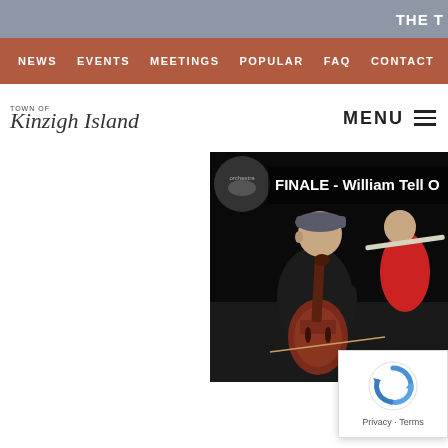THE T
NEWS   EVENTS   MEETINGS   POPULAR   FAQ   CONTACT
[Figure (logo): Town of Kington Island script logo with 'TOWN OF' text above]
MENU
[Figure (screenshot): Video thumbnail showing a cellist in a black cap playing cello, with a flute player in background, and overlay text 'FINALE - William Tell O']
[Figure (other): Google reCAPTCHA widget with Privacy and Terms links]